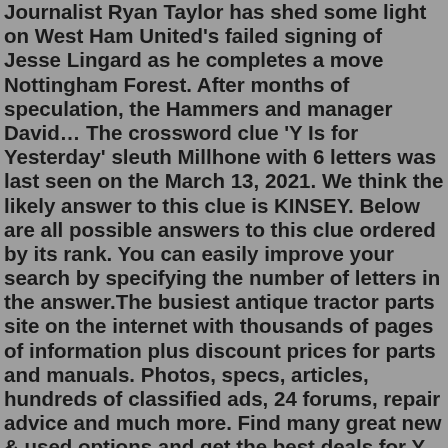Journalist Ryan Taylor has shed some light on West Ham United's failed signing of Jesse Lingard as he completes a move Nottingham Forest. After months of speculation, the Hammers and manager David… The crossword clue 'Y Is for Yesterday' sleuth Millhone with 6 letters was last seen on the March 13, 2021. We think the likely answer to this clue is KINSEY. Below are all possible answers to this clue ordered by its rank. You can easily improve your search by specifying the number of letters in the answer.The busiest antique tractor parts site on the internet with thousands of pages of information plus discount prices for parts and manuals. Photos, specs, articles, hundreds of classified ads, 24 forums, repair advice and much more. Find many great new & used options and get the best deals for Y is for Yesterday by Sue Grafton (Hardcover, 2017) at the best online prices at eBay! Free delivery for many products! judi blume The only down side is the Model Y is $62k vs. $48k for the Model 3 RWD, but I think the Model Y will last me longer as it's a more practical vehicle. Good luck